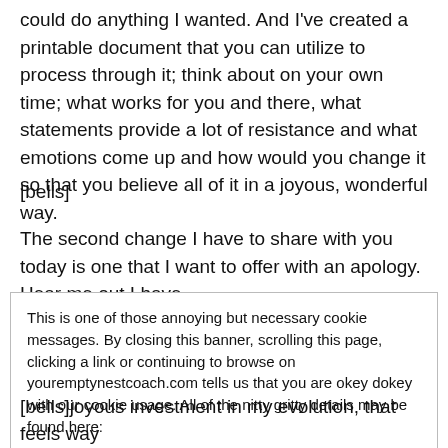could do anything I wanted. And I've created a printable document that you can utilize to process through it; think about on your own time; what works for you and there, what statements provide a lot of resistance and what emotions come up and how would you change it so that you believe all of it in a joyous, wonderful way.
[bells]
The second change I have to share with you today is one that I want to offer with an apology. Hear me out I have
This is one of those annoying but necessary cookie messages. By closing this banner, scrolling this page, clicking a link or continuing to browse on youremptynestcoach.com tells us that you are okey dokey with our cookie usage. All of the nitty gritty details may be found here:
Cookie Policy - no calories
Get rid of this box now.
[bells]joyous investment in my evolution, that feels way